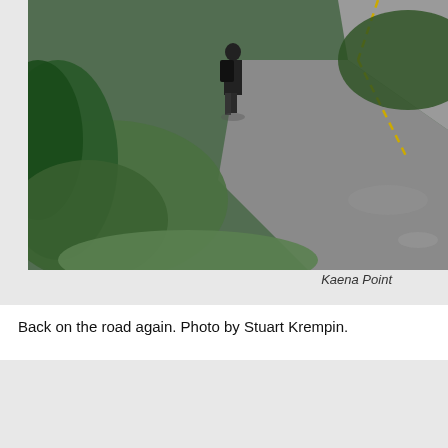[Figure (photo): A person with a backpack walking along the grassy edge of a curved road. Dense green vegetation on the left side, wet road surface curving to the right. Overcast sky.]
Kaena Point
Back on the road again. Photo by Stuart Krempin.
[Figure (photo): Trees with green foliage against a bright overcast sky. Tall pine-like trees and leafy trees visible. Misty or foggy atmosphere.]